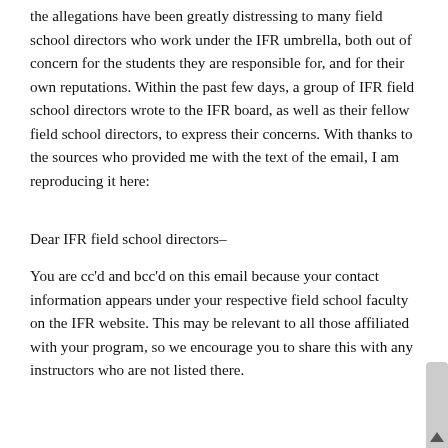the allegations have been greatly distressing to many field school directors who work under the IFR umbrella, both out of concern for the students they are responsible for, and for their own reputations. Within the past few days, a group of IFR field school directors wrote to the IFR board, as well as their fellow field school directors, to express their concerns. With thanks to the sources who provided me with the text of the email, I am reproducing it here:
Dear IFR field school directors–
You are cc'd and bcc'd on this email because your contact information appears under your respective field school faculty on the IFR website. This may be relevant to all those affiliated with your program, so we encourage you to share this with any instructors who are not listed there.